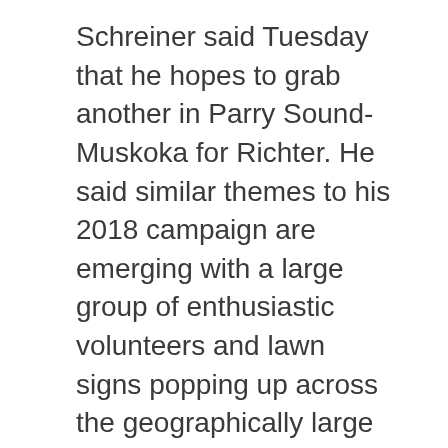Schreiner said Tuesday that he hopes to grab another in Parry Sound-Muskoka for Richter. He said similar themes to his 2018 campaign are emerging with a large group of enthusiastic volunteers and lawn signs popping up across the geographically large riding.
At the announcement -- which included a promise to build 1,000 affordable rental units in the riding -- both candidates spoke to housing strain in Parry Sound-Muskoka, which they said has made it difficult for employers in tourism and health care to attract and retain workers, among other challenges.
Schreiner also spoke about climate concerns in the region such as worsening flooding and